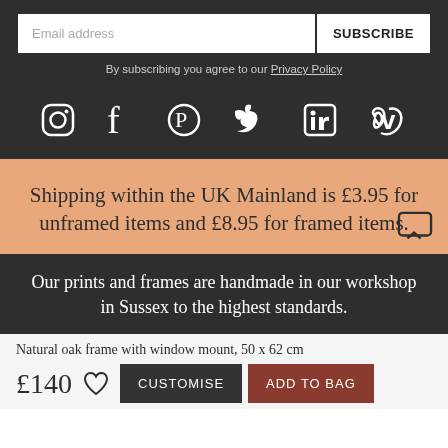Email address
SUBSCRIBE
By subscribing you agree to our Privacy Policy
[Figure (infographic): Social media icons row: Instagram, Facebook, Pinterest, Twitter, LinkedIn, Vimeo — white icons on dark background]
Shipping within the UK Mainland is £3.95 for unframed items and £8.95 for framed items.
Our prints and frames are handmade in our workshop in Sussex to the highest standards.
Natural oak frame with window mount, 50 x 62 cm
£140
CUSTOMISE
ADD TO BAG